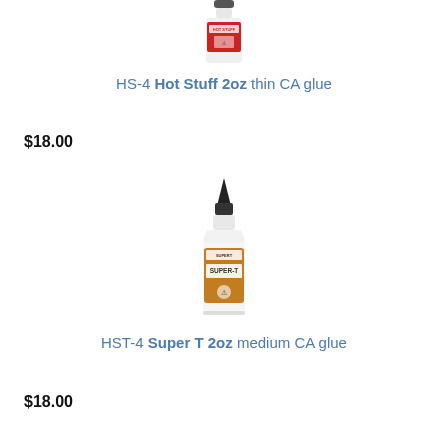[Figure (photo): Partial view of a small bottle of Hot Stuff CA glue with a red label, cropped at the top of the page]
HS-4 Hot Stuff 2oz thin CA glue
$18.00
[Figure (photo): A white bottle of Super T 2oz medium CA glue with an orange/brown label and a black pointed tip cap]
HST-4 Super T 2oz medium CA glue
$18.00